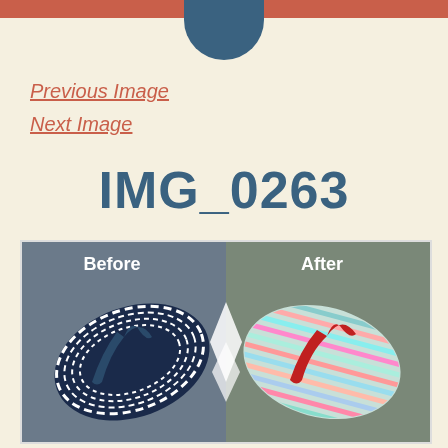Previous Image
Next Image
IMG_0263
[Figure (photo): Before and after comparison of flip-flop sandals. Left side (Before) shows a navy blue and white striped flip-flop with dark blue straps. Right side (After) shows a colorful multicolored striped flip-flop with bright red straps. A chevron/arrow divider separates the two halves with 'Before' and 'After' text labels at the top.]